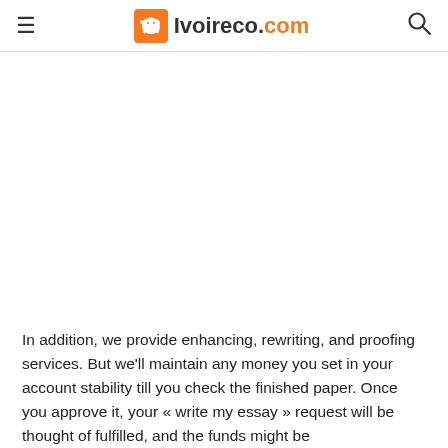Ivoireco.com
In addition, we provide enhancing, rewriting, and proofing services. But we'll maintain any money you set in your account stability till you check the finished paper. Once you approve it, your « write my essay » request will be thought of fulfilled, and the funds might be